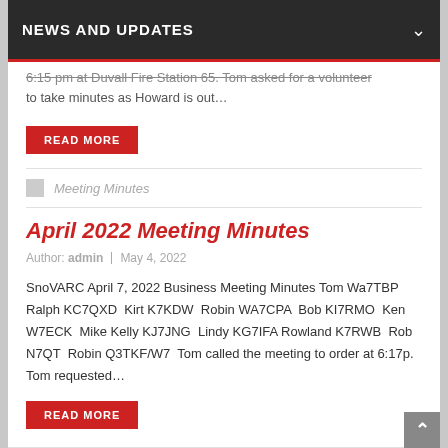NEWS AND UPDATES
6:15 pm at Duvall Fire Station 65. Tom asked for a volunteer to take minutes as Howard is out…
READ MORE
Meeting Minutes
April 2022 Meeting Minutes
Author: admin | May 4, 2022
SnoVARC April 7, 2022 Business Meeting Minutes Tom Wa7TBP  Ralph KC7QXD  Kirt K7KDW  Robin WA7CPA  Bob KI7RMO  Ken W7ECK  Mike Kelly KJ7JNG  Lindy KG7IFA  Rowland K7RWB  Rob N7QT  Robin Q3TKF/W7  Tom called the meeting to order at 6:17p.   Tom requested…
READ MORE
Meeting Minutes